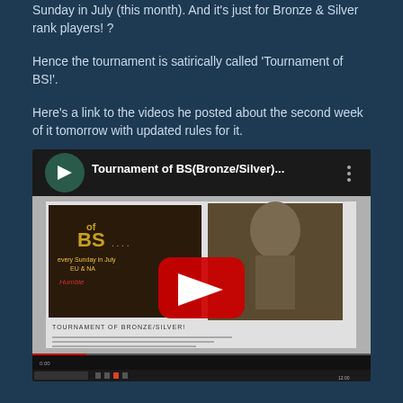Sunday in July (this month). And it's just for Bronze & Silver rank players! ?
Hence the tournament is satirically called 'Tournament of BS!'.
Here's a link to the videos he posted about the second week of it tomorrow with updated rules for it.
[Figure (screenshot): YouTube video thumbnail/screenshot showing 'Tournament of BS(Bronze/Silver)...' with a play button overlay, displaying a webpage with a knight in armor and tournament details.]